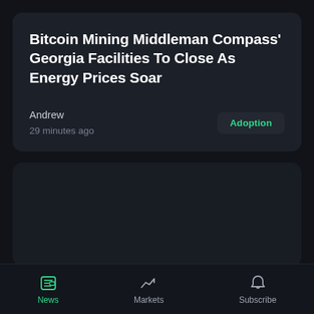Bitcoin Mining Middleman Compass' Georgia Facilities To Close As Energy Prices Soar
Andrew
29 minutes ago
Adoption
[Figure (other): Empty dark card placeholder for a second article]
News | Markets | Subscribe